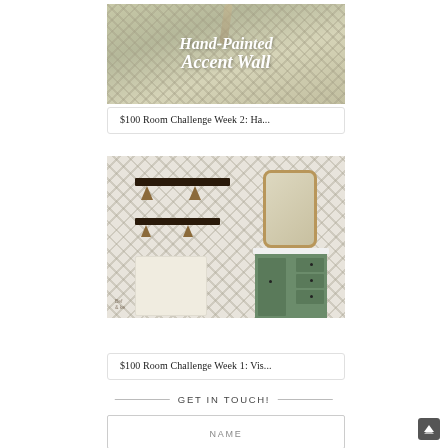[Figure (illustration): Hand-Painted Accent Wall blog post card with chevron/herringbone background pattern in sage green tones and white script text]
$100 Room Challenge Week 2: Ha...
[Figure (illustration): Vision board / mood board for $100 Room Challenge showing floating shelves, a gold-framed mirror, cream paint swatch, and sage green vanity on a herringbone patterned background]
$100 Room Challenge Week 1: Vis...
GET IN TOUCH!
NAME